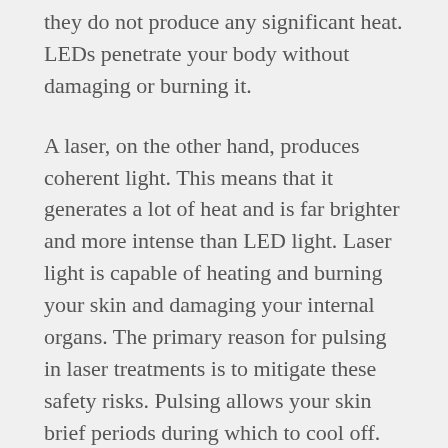they do not produce any significant heat. LEDs penetrate your body without damaging or burning it.
A laser, on the other hand, produces coherent light. This means that it generates a lot of heat and is far brighter and more intense than LED light. Laser light is capable of heating and burning your skin and damaging your internal organs. The primary reason for pulsing in laser treatments is to mitigate these safety risks. Pulsing allows your skin brief periods during which to cool off.
In red LED light therapy, no such heat mitigation is necessary. You might experience a mild and pleasant warm sensation on your skin during therapy, but you will not burn. Red LED and NIR (near-infrared) light therapy can now provide the same depth of cell penetration and healing as older